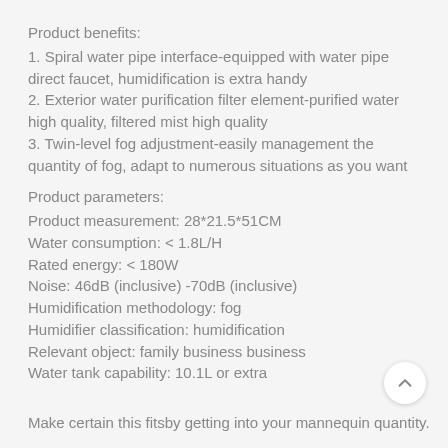Product benefits:
1. Spiral water pipe interface-equipped with water pipe direct faucet, humidification is extra handy
2. Exterior water purification filter element-purified water high quality, filtered mist high quality
3. Twin-level fog adjustment-easily management the quantity of fog, adapt to numerous situations as you want
Product parameters:
Product measurement: 28*21.5*51CM
Water consumption: < 1.8L/H
Rated energy: < 180W
Noise: 46dB (inclusive) -70dB (inclusive)
Humidification methodology: fog
Humidifier classification: humidification
Relevant object: family business business
Water tank capability: 10.1L or extra
Make certain this fitsby getting into your mannequin quantity.